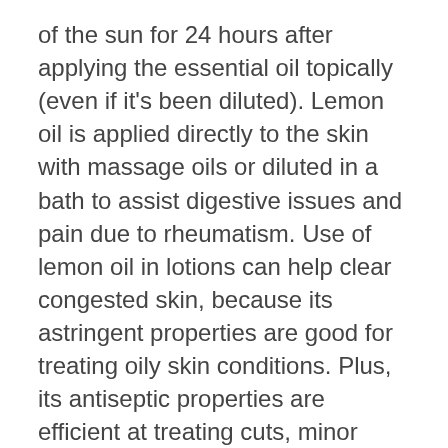of the sun for 24 hours after applying the essential oil topically (even if it's been diluted). Lemon oil is applied directly to the skin with massage oils or diluted in a bath to assist digestive issues and pain due to rheumatism. Use of lemon oil in lotions can help clear congested skin, because its astringent properties are good for treating oily skin conditions. Plus, its antiseptic properties are efficient at treating cuts, minor wounds, and acne.  Lemon oil is added to steam baths, a vaporizer, or humidifier and inhaled to treat colds, flu, sinus irritations. It's a popular oil in aromatherapy because it can help lift your spirits, ease depression, stress, and fatigue. Lemon oil can also clear your mind, and improve concentration and decision making. Lemon oil is diluted in warm water to serve as a mouthwash or gargle to heal mouth ulcers, added to hot water and honey to soothe sore throats, and ingested in